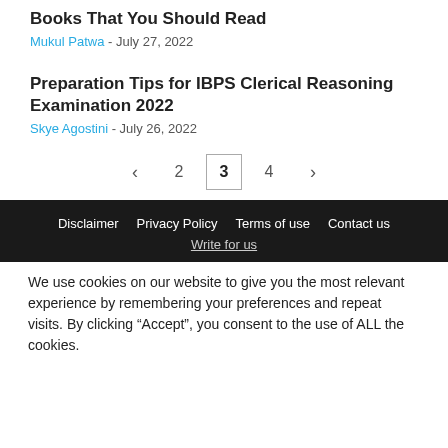Books That You Should Read
Mukul Patwa - July 27, 2022
Preparation Tips for IBPS Clerical Reasoning Examination 2022
Skye Agostini - July 26, 2022
< 2 3 4 >
Disclaimer  Privacy Policy  Terms of use  Contact us  Write for us
We use cookies on our website to give you the most relevant experience by remembering your preferences and repeat visits. By clicking “Accept”, you consent to the use of ALL the cookies.